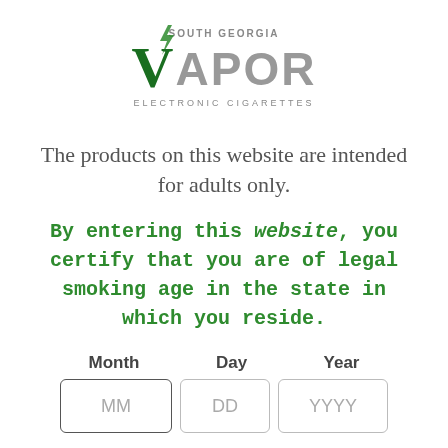[Figure (logo): South Georgia Vapor Electronic Cigarettes logo with green stylized V and lightning bolt, gray APOR text]
The products on this website are intended for adults only.
By entering this website, you certify that you are of legal smoking age in the state in which you reside.
Month   Day   Year
MM   DD   YYYY